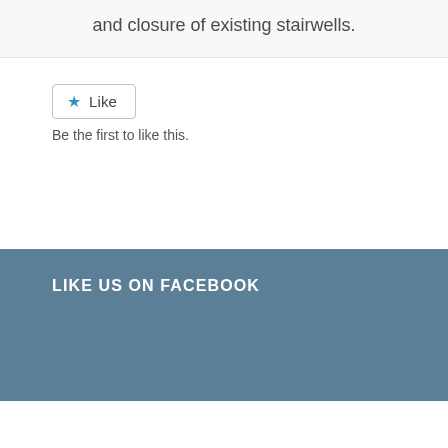and closure of existing stairwells.
[Figure (other): Like button widget with blue star icon and 'Like' label]
Be the first to like this.
LIKE US ON FACEBOOK